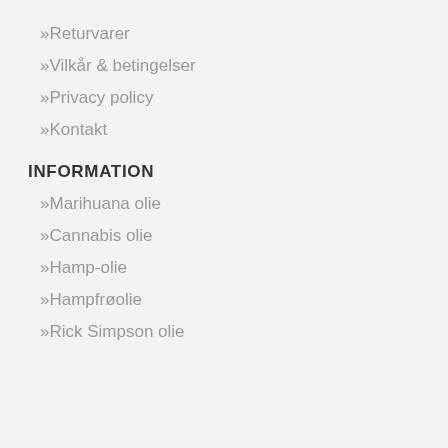» Returvarer
» Vilkår & betingelser
» Privacy policy
» Kontakt
INFORMATION
» Marihuana olie
» Cannabis olie
» Hamp-olie
» Hampfrøolie
» Rick Simpson olie